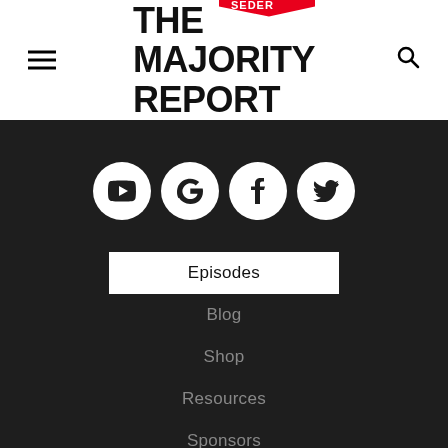[Figure (logo): The Majority Report with Sam Seder logo — bold black text with red speech bubble tag]
[Figure (infographic): Four social media icons: YouTube, Google, Facebook, Twitter — white circles on dark background]
Episodes
Blog
Shop
Resources
Sponsors
About
FAQ
Support